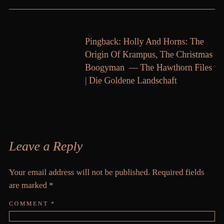Pingback: Holly And Horns: The Origin Of Krampus, The Christmas Boogyman  — The Hawthorn Files | Die Goldene Landschaft
Leave a Reply
Your email address will not be published. Required fields are marked *
COMMENT *